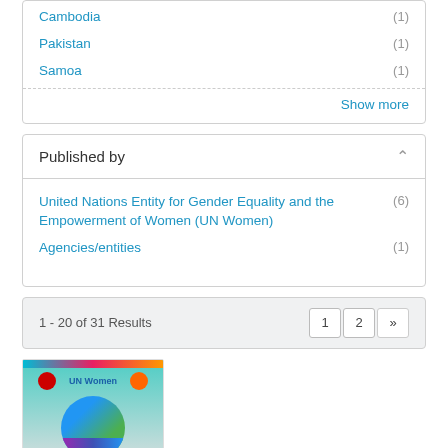Cambodia (1)
Pakistan (1)
Samoa (1)
Show more
Published by
United Nations Entity for Gender Equality and the Empowerment of Women (UN Women) (6)
Agencies/entities (1)
1 - 20 of 31 Results
[Figure (screenshot): Thumbnail of a document cover with logos and colorful circular graphic]